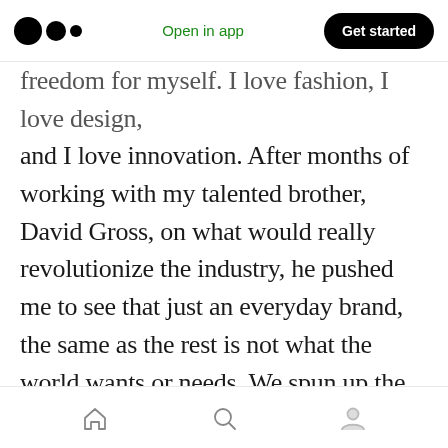Open in app | Get started
freedom for myself. I love fashion, I love design, and I love innovation. After months of working with my talented brother, David Gross, on what would really revolutionize the industry, he pushed me to see that just an everyday brand, the same as the rest is not what the world wants or needs. We spun up the idea; Gross World clothing would attempt to be a full custom catalogue of relevant styles that can be ordered in any color you want. There are many more features of the business that sets it apart from others. But these are some stories, and bits of info that show what motivated me to do what I
home | search | profile